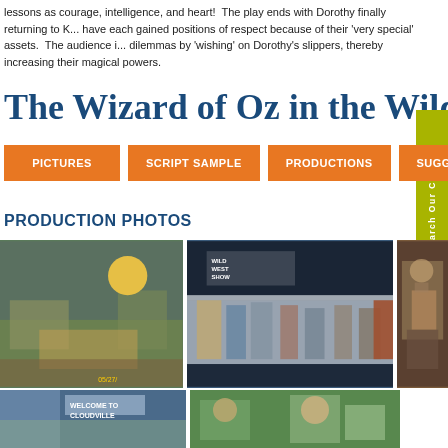lessons as courage, intelligence, and heart!  The play ends with Dorothy finally returning to K... have each gained positions of respect because of their 'very special' assets.  The audience i... dilemmas by 'wishing' on Dorothy's slippers, thereby increasing their magical powers.
The Wizard of Oz in the Wild We...
PICTURES
SCRIPT SAMPLE
PRODUCTIONS
SUGGESTIONS
PRODUCTION PHOTOS
[Figure (photo): Stage production photo showing actors on a set with hay bales, sun backdrop, date stamp 05/27]
[Figure (photo): Wild West Show stage production photo with actors in costume against a white backdrop, sign reading 'Wild West Show']
[Figure (photo): Partial photo showing actor in Scarecrow costume]
[Figure (photo): Stage set with 'Welcome to Cloudville' sign]
[Figure (photo): Two actors in costume including lion character in green field setting]